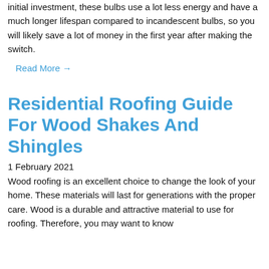initial investment, these bulbs use a lot less energy and have a much longer lifespan compared to incandescent bulbs, so you will likely save a lot of money in the first year after making the switch.
Read More →
Residential Roofing Guide For Wood Shakes And Shingles
1 February 2021
Wood roofing is an excellent choice to change the look of your home. These materials will last for generations with the proper care. Wood is a durable and attractive material to use for roofing. Therefore, you may want to know